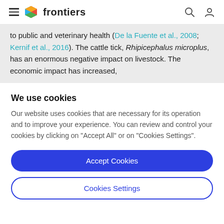frontiers
to public and veterinary health (De la Fuente et al., 2008; Kernif et al., 2016). The cattle tick, Rhipicephalus microplus, has an enormous negative impact on livestock. The economic impact has increased,
We use cookies
Our website uses cookies that are necessary for its operation and to improve your experience. You can review and control your cookies by clicking on "Accept All" or on "Cookies Settings".
Accept Cookies
Cookies Settings